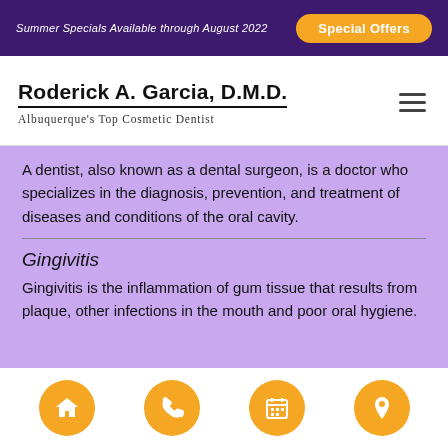Summer Specials Available through August 2022 | Special Offers
Roderick A. Garcia, D.M.D. — Albuquerque's Top Cosmetic Dentist
A dentist, also known as a dental surgeon, is a doctor who specializes in the diagnosis, prevention, and treatment of diseases and conditions of the oral cavity.
Gingivitis
Gingivitis is the inflammation of gum tissue that results from plaque, other infections in the mouth and poor oral hygiene.